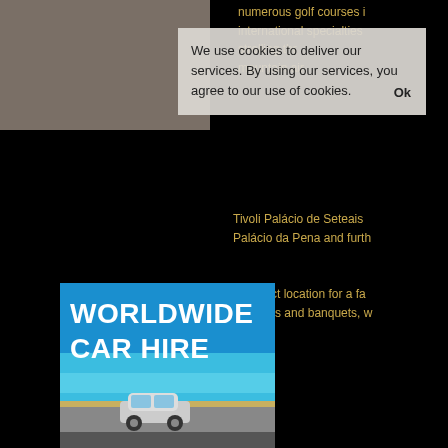[Figure (photo): Top-left image showing a brownish/taupe colored background, possibly a building or landscape photo, partially visible]
We use cookies to deliver our services. By using our services, you agree to our use of cookies.
Ok
numerous golf courses in... international specialties... strolling through... mountain air.
Tivoli Palácio de Seteais... Palácio da Pena and furth...
A perfect location for a fa... functions and banquets, w...
[Figure (advertisement): Worldwide Car Hire advertisement showing a silver car driving on a coastal road with turquoise water, white bold text reading WORLDWIDE CAR HIRE on blue background]